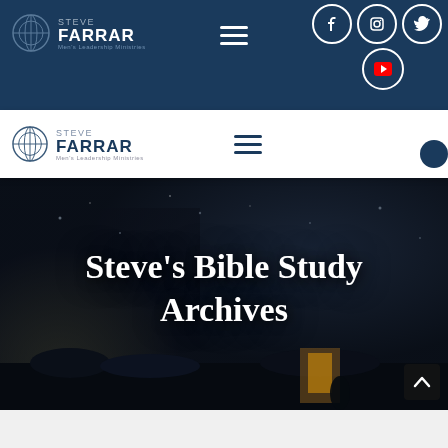Steve Farrar – Men's Leadership Ministries navigation bar with social icons (Facebook, Instagram, Twitter, YouTube)
[Figure (screenshot): Website screenshot of SteveFarrar.com showing two navigation bars. The top dark navy bar contains the Steve Farrar Men's Leadership Ministry logo and a hamburger menu. The upper right has social media icons: Facebook, Instagram, Twitter in circles, and YouTube icon below. A second white sticky nav bar appears below with the same logo and hamburger menu icon in navy.]
Steve’s Bible Study Archives
[Figure (photo): Dark atmospheric hero image showing a crowd of people in a dimly lit scene, likely a church or outdoor gathering at night. The image has a deep navy/dark blue tone with scattered lights visible at the top.]